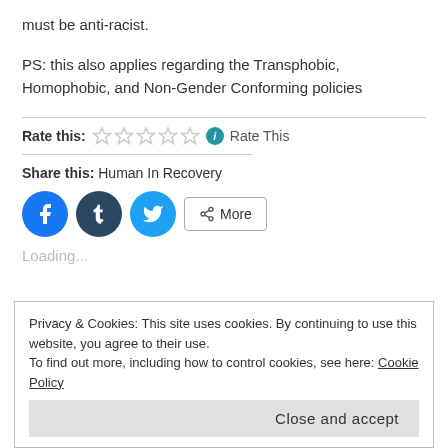must be anti-racist.
PS: this also applies regarding the Transphobic, Homophobic, and Non-Gender Conforming policies
Rate this: ☆☆☆☆☆ ℹ Rate This
Share this: Human In Recovery
[Figure (other): Social share buttons: Facebook (blue circle), Tumblr (dark blue circle), Twitter (light blue circle), and a More button with share icon]
Loading...
Privacy & Cookies: This site uses cookies. By continuing to use this website, you agree to their use.
To find out more, including how to control cookies, see here: Cookie Policy
Close and accept